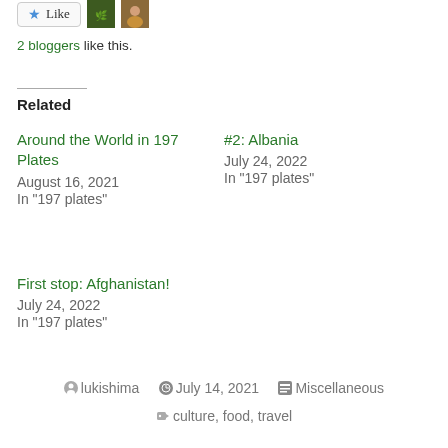[Figure (other): Like button with star icon and two blogger avatar thumbnails]
2 bloggers like this.
Related
Around the World in 197 Plates
August 16, 2021
In "197 plates"
#2: Albania
July 24, 2022
In "197 plates"
First stop: Afghanistan!
July 24, 2022
In "197 plates"
lukishima   July 14, 2021   Miscellaneous   culture, food, travel